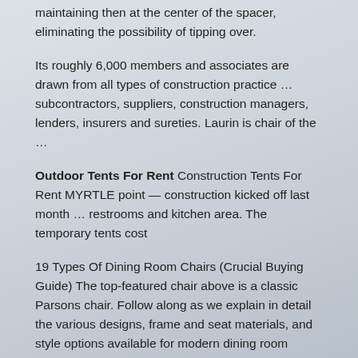maintaining then at the center of the spacer, eliminating the possibility of tipping over.
Its roughly 6,000 members and associates are drawn from all types of construction practice … subcontractors, suppliers, construction managers, lenders, insurers and sureties. Laurin is chair of the …
Outdoor Tents For Rent Construction Tents For Rent MYRTLE point — construction kicked off last month … restrooms and kitchen area. The temporary tents cost
19 Types Of Dining Room Chairs (Crucial Buying Guide) The top-featured chair above is a classic Parsons chair. Follow along as we explain in detail the various designs, frame and seat materials, and style options available for modern dining room chairs. We thoroughly explain the various strains of each category, giving you the knowledge needed to make the best